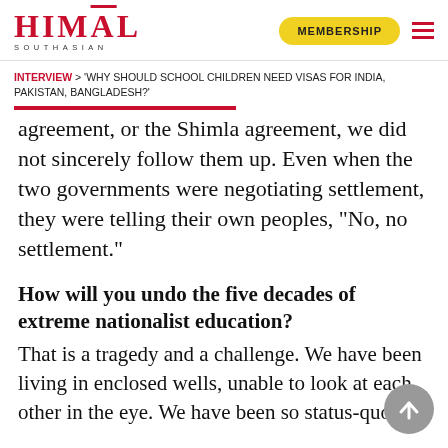HIMAL SOUTHASIAN | MEMBERSHIP
INTERVIEW > 'WHY SHOULD SCHOOL CHILDREN NEED VISAS FOR INDIA, PAKISTAN, BANGLADESH?'
agreement, or the Shimla agreement, we did not sincerely follow them up. Even when the two governments were negotiating settlement, they were telling their own peoples, "No, no settlement."
How will you undo the five decades of extreme nationalist education?
That is a tragedy and a challenge. We have been living in enclosed wells, unable to look at each other in the eye. We have been so status-quo